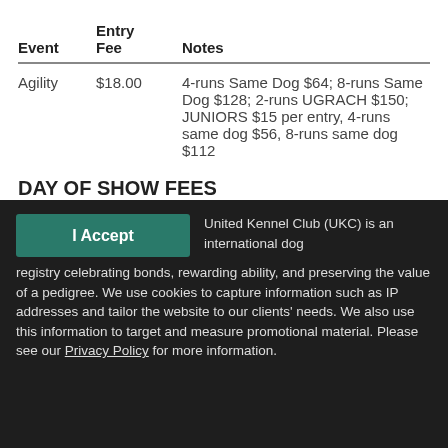| Event | Entry Fee | Notes |
| --- | --- | --- |
| Agility | $18.00 | 4-runs Same Dog $64; 8-runs Same Dog $128; 2-runs UGRACH $150; JUNIORS $15 per entry, 4-runs same dog $56, 8-runs same dog $112 |
DAY OF SHOW FEES
| Event | Entry Fee | Notes |
| --- | --- | --- |
United Kennel Club (UKC) is an international dog registry celebrating bonds, rewarding ability, and preserving the value of a pedigree. We use cookies to capture information such as IP addresses and tailor the website to our clients' needs. We also use this information to target and measure promotional material. Please see our Privacy Policy for more information.